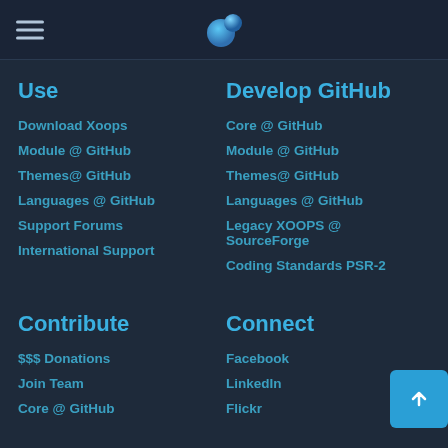Navigation header with hamburger menu and XOOPS logo
Use
Download Xoops
Module @ GitHub
Themes@ GitHub
Languages @ GitHub
Support Forums
International Support
Develop GitHub
Core @ GitHub
Module @ GitHub
Themes@ GitHub
Languages @ GitHub
Legacy XOOPS @ SourceForge
Coding Standards PSR-2
Contribute
$$$ Donations
Join Team
Core @ GitHub
Connect
Facebook
LinkedIn
Flickr